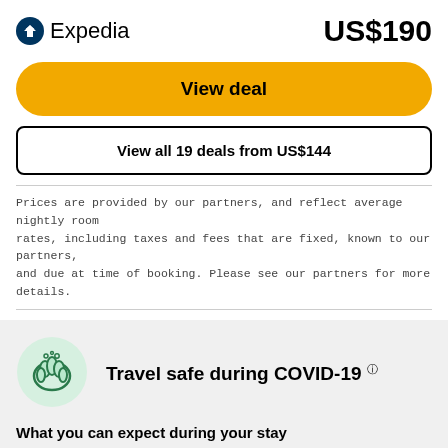Expedia   US$190
View deal
View all 19 deals from US$144
Prices are provided by our partners, and reflect average nightly room rates, including taxes and fees that are fixed, known to our partners, and due at time of booking. Please see our partners for more details.
[Figure (illustration): Hands washing / hand sanitizer icon with green tint, COVID-19 safety section icon]
Travel safe during COVID-19 ℹ
What you can expect during your stay
Hand sanitiser available to guests & staff